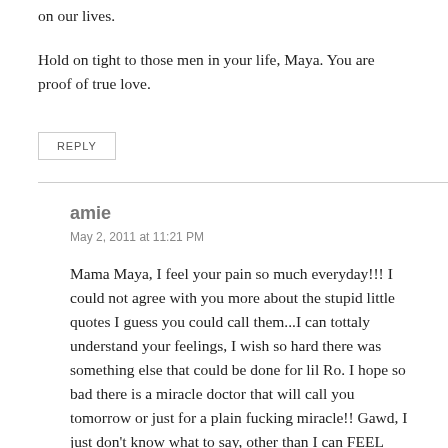on our lives.
Hold on tight to those men in your life, Maya. You are proof of true love.
REPLY
amie
May 2, 2011 at 11:21 PM
Mama Maya, I feel your pain so much everyday!!! I could not agree with you more about the stupid little quotes I guess you could call them...I can tottaly understand your feelings, I wish so hard there was something else that could be done for lil Ro. I hope so bad there is a miracle doctor that will call you tomorrow or just for a plain fucking miracle!! Gawd, I just don't know what to say, other than I can FEEL